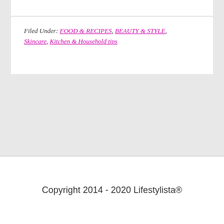Filed Under: FOOD & RECIPES, BEAUTY & STYLE, Skincare, Kitchen & Household tips
Copyright 2014 - 2020 Lifestylista®